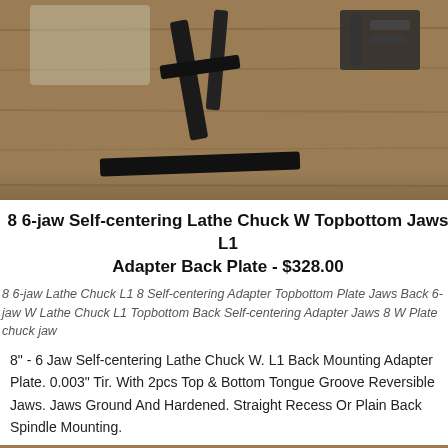[Figure (photo): Photo of lathe chuck parts and hardware on a wooden surface, top portion]
8 6-jaw Self-centering Lathe Chuck W Topbottom Jaws L1 Adapter Back Plate - $328.00
8 6-jaw Lathe Chuck L1 8 Self-centering Adapter Topbottom Plate Jaws Back 6-jaw W Lathe Chuck L1 Topbottom Back Self-centering Adapter Jaws 8 W Plate chuck jaw
8" - 6 Jaw Self-centering Lathe Chuck W. L1 Back Mounting Adapter Plate. 0.003" Tir. With 2pcs Top & Bottom Tongue Groove Reversible Jaws. Jaws Ground And Hardened. Straight Recess Or Plain Back Spindle Mounting.
[Figure (photo): Photo of lathe chuck component on wooden surface, bottom portion]